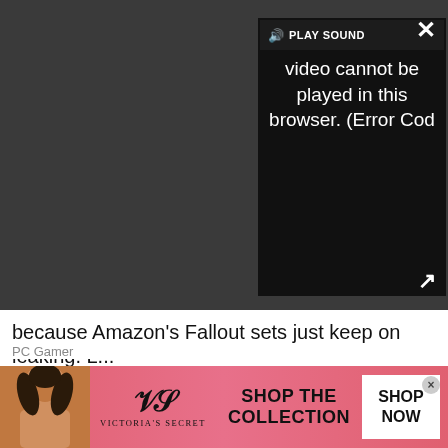[Figure (screenshot): Video player showing error message: 'Video cannot be played in this browser. (Error Cod' with PLAY SOUND button and speaker icon at top, close X button top right, expand button bottom right. Dark gray background.]
because Amazon's Fallout sets just keep on leaking. L...
PC Gamer
[Figure (photo): Close-up photo of a person's face showing two blue eyes with hands near face, fingers near forehead. High detail eye photograph.]
[Figure (screenshot): Victoria's Secret advertisement banner with pink/red background. Shows a woman's photo on left, Victoria's Secret logo in center with stylized VS and 'VICTORIA'S SECRET' text, 'SHOP THE COLLECTION' text in bold, and 'SHOP NOW' button on right in white box.]